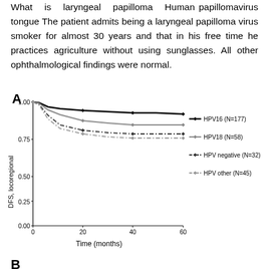What is laryngeal papilloma Human papillomavirus tongue The patient admits being a laryngeal papilloma virus smoker for almost 30 years and that in his free time he practices agriculture without using sunglasses. All other ophthalmological findings were normal.
[Figure (line-chart): A]
B